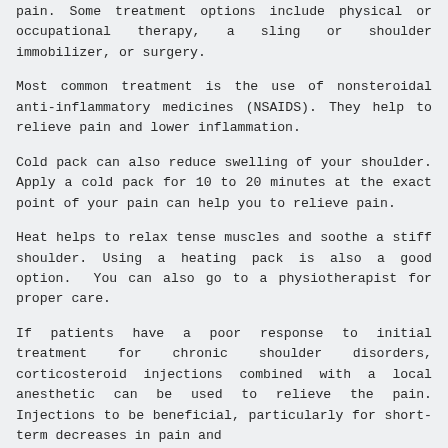pain. Some treatment options include physical or occupational therapy, a sling or shoulder immobilizer, or surgery.
Most common treatment is the use of nonsteroidal anti-inflammatory medicines (NSAIDS). They help to relieve pain and lower inflammation.
Cold pack can also reduce swelling of your shoulder. Apply a cold pack for 10 to 20 minutes at the exact point of your pain can help you to relieve pain.
Heat helps to relax tense muscles and soothe a stiff shoulder. Using a heating pack is also a good option. You can also go to a physiotherapist for proper care.
If patients have a poor response to initial treatment for chronic shoulder disorders, corticosteroid injections combined with a local anesthetic can be used to relieve the pain. Injections to be beneficial, particularly for short-term decreases in pain and